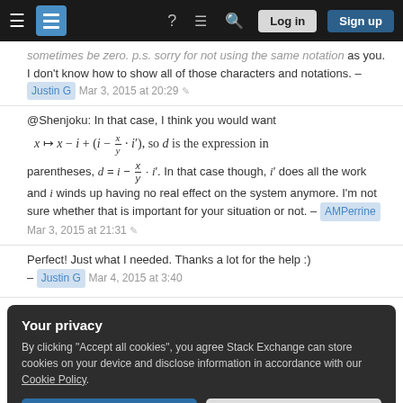Stack Exchange navigation bar with hamburger menu, logo, help, chat, search icons, Log in and Sign up buttons
sometimes be zero. p.s. sorry for not using the same notation as you. I don't know how to show all of those characters and notations. – Justin G  Mar 3, 2015 at 20:29
@Shenjoku: In that case, I think you would want x ↦ x − i + (i − x/y · i′), so d is the expression in parentheses, d = i − x/y · i′. In that case though, i′ does all the work and i winds up having no real effect on the system anymore. I'm not sure whether that is important for your situation or not. – AMPerrine  Mar 3, 2015 at 21:31
Perfect! Just what I needed. Thanks a lot for the help :) – Justin G  Mar 4, 2015 at 3:40
Your privacy
By clicking "Accept all cookies", you agree Stack Exchange can store cookies on your device and disclose information in accordance with our Cookie Policy.